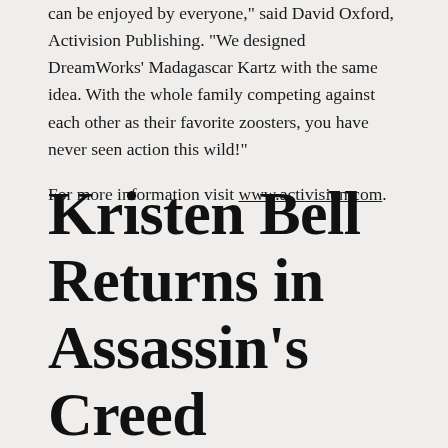can be enjoyed by everyone," said David Oxford, Activision Publishing. "We designed DreamWorks' Madagascar Kartz with the same idea. With the whole family competing against each other as their favorite zoosters, you have never seen action this wild!"
For more information visit www.activision.com.
Kristen Bell Returns in Assassin's Creed